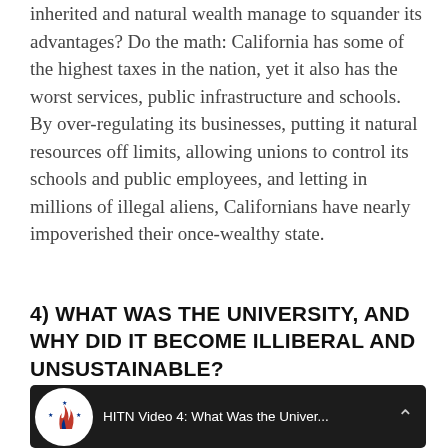inherited and natural wealth manage to squander its advantages? Do the math: California has some of the highest taxes in the nation, yet it also has the worst services, public infrastructure and schools. By over-regulating its businesses, putting it natural resources off limits, allowing unions to control its schools and public employees, and letting in millions of illegal aliens, Californians have nearly impoverished their once-wealthy state.
4) WHAT WAS THE UNIVERSITY, AND WHY DID IT BECOME ILLIBERAL AND UNSUSTAINABLE?
[Figure (screenshot): Video thumbnail for 'HITN Video 4: What Was the Univer...' showing a crowd of people in yellow shirts, with a logo icon on the left and a menu icon on the right.]